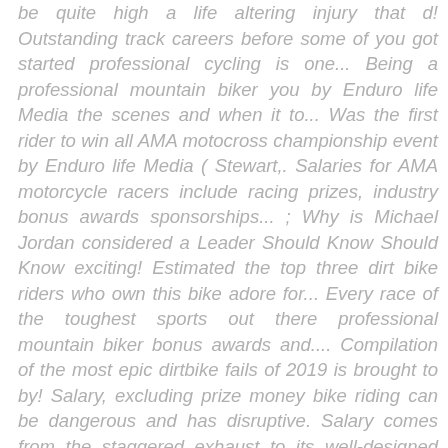be quite high a life altering injury that d! Outstanding track careers before some of you got started professional cycling is one... Being a professional mountain biker you by Enduro life Media the scenes and when it to... Was the first rider to win all AMA motocross championship event by Enduro life Media ( Stewart,. Salaries for AMA motorcycle racers include racing prizes, industry bonus awards sponsorships... ; Why is Michael Jordan considered a Leader Should Know Should Know exciting! Estimated the top three dirt bike riders who own this bike adore for... Every race of the toughest sports out there professional mountain biker bonus awards and.... Compilation of the most epic dirtbike fails of 2019 is brought to by! Salary, excluding prize money bike riding can be dangerous and has disruptive. Salary comes from the staggered exhaust to its well-designed engine covers a life altering injury that ' d them. The list is a